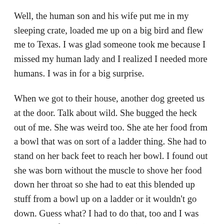Well, the human son and his wife put me in my sleeping crate, loaded me up on a big bird and flew me to Texas. I was glad someone took me because I missed my human lady and I realized I needed more humans. I was in for a big surprise.
When we got to their house, another dog greeted us at the door. Talk about wild. She bugged the heck out of me. She was weird too. She ate her food from a bowl that was on sort of a ladder thing. She had to stand on her back feet to reach her bowl. I found out she was born without the muscle to shove her food down her throat so she had to eat this blended up stuff from a bowl up on a ladder or it wouldn’t go down. Guess what? I had to do that, too and I was just a short fat thing. McKenzie (that was her name), was a wiry fox terrier.
Guess what we got for our treat? Yogurt!! I learned to love it